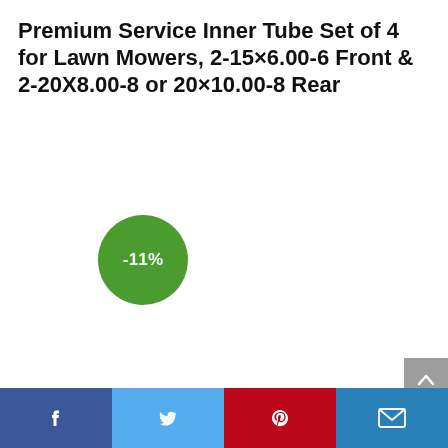Premium Service Inner Tube Set of 4 for Lawn Mowers, 2-15×6.00-6 Front & 2-20X8.00-8 or 20×10.00-8 Rear
[Figure (other): Green circular discount badge showing -11%]
[Figure (other): Gray back-to-top arrow button in top-right corner area]
[Figure (infographic): Footer social sharing bar with Facebook, Twitter, Pinterest, and Email icons]